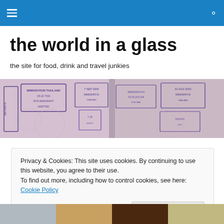navigation bar with hamburger menu and search icon
the world in a glass
the site for food, drink and travel junkies
[Figure (photo): Passport pages with various entry/exit stamps including dates 7 SEP 2003, 31 AUG 2003, 20 JUN 2004]
Privacy & Cookies: This site uses cookies. By continuing to use this website, you agree to their use.
To find out more, including how to control cookies, see here: Cookie Policy
Close and accept
[Figure (photo): Row of thumbnail images at bottom of page]